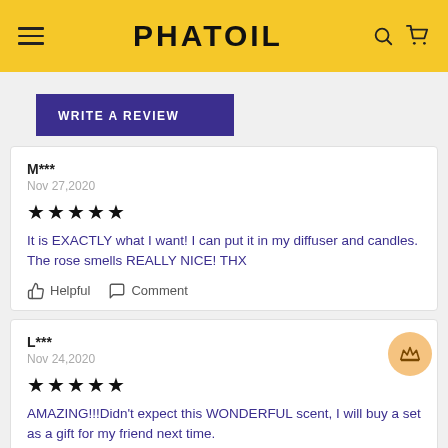PHATOIL
WRITE A REVIEW
M***
Nov 27,2020
★★★★★
It is EXACTLY what I want! I can put it in my diffuser and candles. The rose smells REALLY NICE! THX
Helpful  Comment
L***
Nov 24,2020
★★★★★
AMAZING!!!Didn't expect this WONDERFUL scent, I will buy a set as a gift for my friend next time.